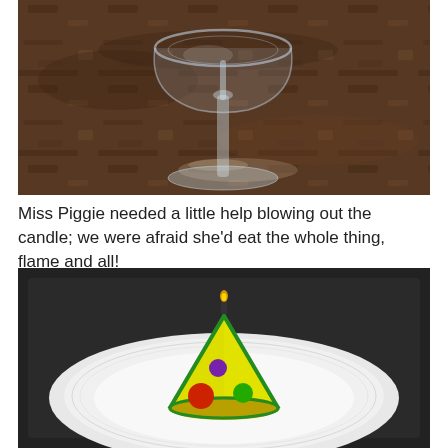[Figure (photo): A martini or wine glass sitting upside down on a dark granite countertop surface.]
Miss Piggie needed a little help blowing out the candle; we were afraid she'd eat the whole thing, flame and all!
[Figure (photo): A yellow pizza-slice shaped candle with green, red, and purple polka dots sitting on a white paper plate on a dark tray.]